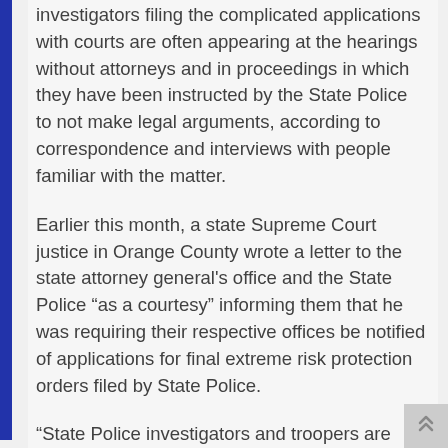investigators filing the complicated applications with courts are often appearing at the hearings without attorneys and in proceedings in which they have been instructed by the State Police to not make legal arguments, according to correspondence and interviews with people familiar with the matter.
Earlier this month, a state Supreme Court justice in Orange County wrote a letter to the state attorney general's office and the State Police “as a courtesy” informing them that he was requiring their respective offices be notified of applications for final extreme risk protection orders filed by State Police.
“State Police investigators and troopers are